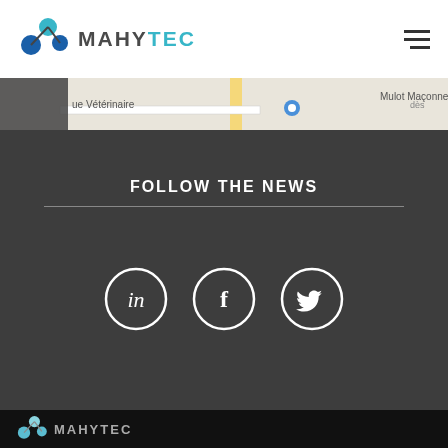MAHYTEC
[Figure (map): Street map snippet showing 'Rue Vétérinaire' and 'Mulot Maçonnerie' location labels]
FOLLOW THE NEWS
[Figure (infographic): Three social media icons in white circles on dark background: LinkedIn (in), Facebook (f), Twitter bird icon]
MAHYTEC